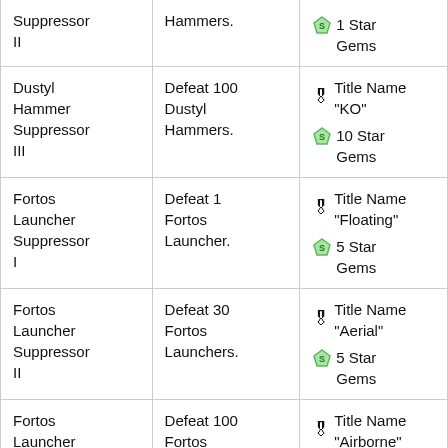| Suppressor II | Hammers. | 1 Star Gems |
| Dustyl Hammer Suppressor III | Defeat 100 Dustyl Hammers. | 🎖 Title Name "KO"
10 Star Gems |
| Fortos Launcher Suppressor I | Defeat 1 Fortos Launcher. | 🎖 Title Name "Floating"
5 Star Gems |
| Fortos Launcher Suppressor II | Defeat 30 Fortos Launchers. | 🎖 Title Name "Aerial"
5 Star Gems |
| Fortos Launcher Suppressor III | Defeat 100 Fortos Launchers. | 🎖 Title Name "Airborne"
10 Star Gems |